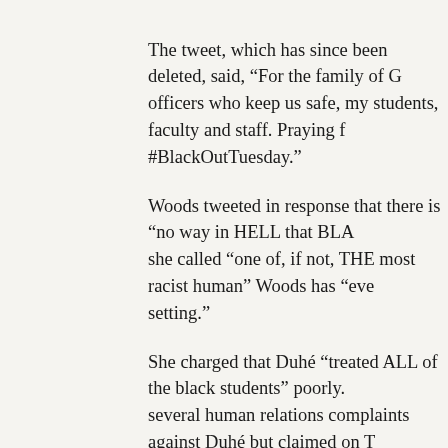The tweet, which has since been deleted, said, “For the family of G… officers who keep us safe, my students, faculty and staff. Praying f… #BlackOutTuesday.”
Woods tweeted in response that there is “no way in HELL that BLA… she called “one of, if not, THE most racist human” Woods has “eve… setting.”
She charged that Duhé “treated ALL of the black students” poorly. several human relations complaints against Duhé but claimed on T… “THROWN OUT because ‘friends’ in high places.”
Woods, who is African American, tweeted that while she was a jou… told her her hair was “messy, not appropriate for on-air” and that W… on the news.”
Loyola’s student-run newspaper, The Maroon, said Duhé responde… investigation in 2019 by denying the charges in that case.
“Never did I tell students of African-American descent to ‘not be m… hair,” the paper quoted her as saying, adding that she said she exp…